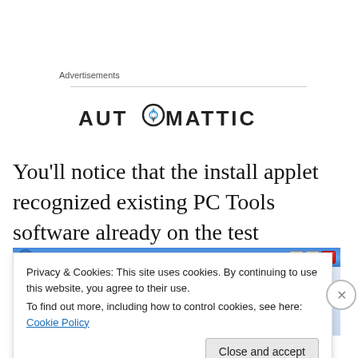Advertisements
[Figure (logo): Automattic logo - black text on white background with a compass/target icon replacing the 'O' in AUTOMATTIC]
You'll notice that the install applet recognized existing PC Tools software already on the test machine.
[Figure (screenshot): PC Tools software installer window with blue Windows XP-style title bar showing 'PC Tools' text and window controls]
Privacy & Cookies: This site uses cookies. By continuing to use this website, you agree to their use.
To find out more, including how to control cookies, see here: Cookie Policy
Close and accept